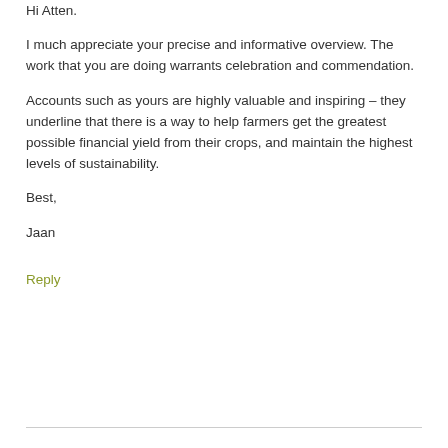Hi Atten.
I much appreciate your precise and informative overview. The work that you are doing warrants celebration and commendation.
Accounts such as yours are highly valuable and inspiring – they underline that there is a way to help farmers get the greatest possible financial yield from their crops, and maintain the highest levels of sustainability.
Best,
Jaan
Reply